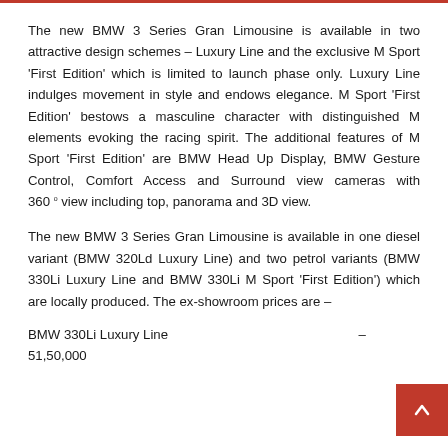The new BMW 3 Series Gran Limousine is available in two attractive design schemes – Luxury Line and the exclusive M Sport 'First Edition' which is limited to launch phase only. Luxury Line indulges movement in style and endows elegance. M Sport 'First Edition' bestows a masculine character with distinguished M elements evoking the racing spirit. The additional features of M Sport 'First Edition' are BMW Head Up Display, BMW Gesture Control, Comfort Access and Surround view cameras with 360° view including top, panorama and 3D view.
The new BMW 3 Series Gran Limousine is available in one diesel variant (BMW 320Ld Luxury Line) and two petrol variants (BMW 330Li Luxury Line and BMW 330Li M Sport 'First Edition') which are locally produced. The ex-showroom prices are –
BMW 330Li Luxury Line  –  R 51,50,000